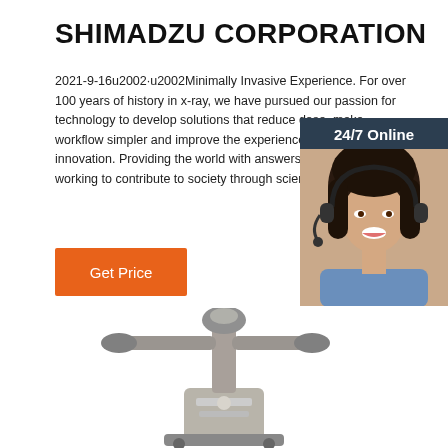SHIMADZU CORPORATION
2021-9-16u2002·u2002Minimally Invasive Experience. For over 100 years of history in x-ray, we have pursued our passion for technology to develop solutions that reduce dose, make workflow simpler and improve the experience with meaningful innovation. Providing the world with answers. Shimadzu is working to contribute to society through science and technology.
[Figure (photo): Customer service representative woman with headset, 24/7 Online chat widget with orange QUOTATION button]
Get Price
[Figure (photo): X-ray medical equipment / imaging machine at bottom of page]